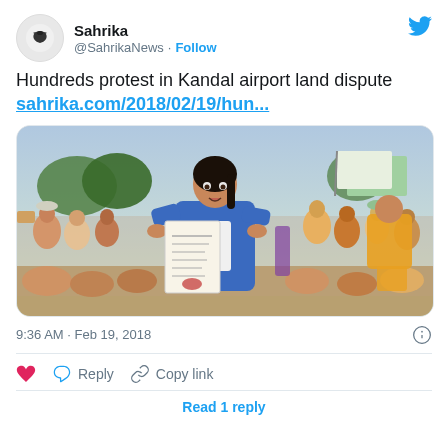[Figure (screenshot): Twitter/X profile picture: a white circle with a dark bird/dove silhouette icon]
Sahrika @SahrikaNews · Follow
[Figure (logo): Twitter blue bird logo in top-right corner]
Hundreds protest in Kandal airport land dispute sahrika.com/2018/02/19/hun...
[Figure (photo): A woman in a blue jacket holding up a document at a protest, surrounded by a crowd of people, outdoors.]
9:36 AM · Feb 19, 2018
♥  Reply  Copy link
Read 1 reply